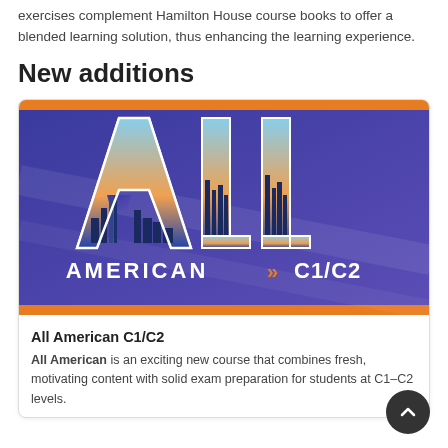exercises complement Hamilton House course books to offer a blended learning solution, thus enhancing the learning experience.
New additions
[Figure (illustration): All American C1/C2 course book cover image showing large stylized letters A-L-L with New York City skyline inside them on a purple/blue diagonal background, with 'AMERICAN' text below and orange chevrons followed by 'C1/C2' text, framed with orange top and bottom bars.]
All American C1/C2
All American is an exciting new course that combines fresh, motivating content with solid exam preparation for students at C1–C2 levels.